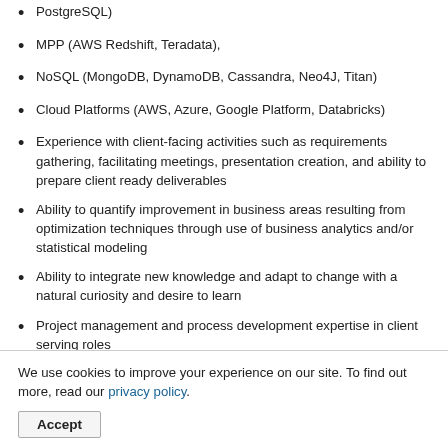PostgreSQL)
MPP (AWS Redshift, Teradata),
NoSQL (MongoDB, DynamoDB, Cassandra, Neo4J, Titan)
Cloud Platforms (AWS, Azure, Google Platform, Databricks)
Experience with client-facing activities such as requirements gathering, facilitating meetings, presentation creation, and ability to prepare client ready deliverables
Ability to quantify improvement in business areas resulting from optimization techniques through use of business analytics and/or statistical modeling
Ability to integrate new knowledge and adapt to change with a natural curiosity and desire to learn
Project management and process development expertise in client serving roles
We use cookies to improve your experience on our site. To find out more, read our privacy policy.
Accept